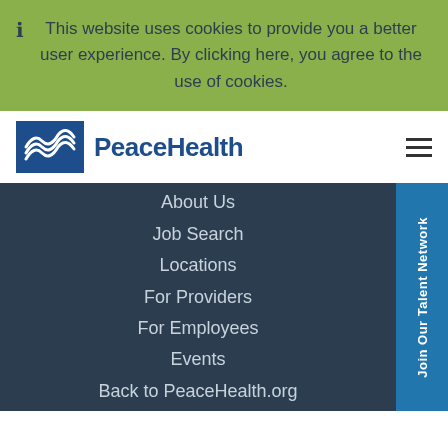This website uses cookies to provide you a better user experience. By clicking here, you agree to the use of cookies.
[Figure (logo): PeaceHealth logo with blue wave icon and blue text 'PeaceHealth']
About Us
Job Search
Locations
For Providers
For Employees
Events
Back to PeaceHealth.org